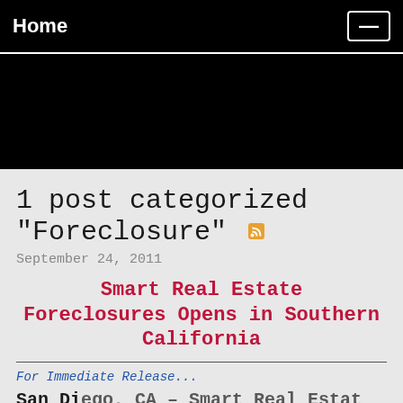Home
[Figure (other): Black banner area below navigation header]
1 post categorized "Foreclosure"
September 24, 2011
Smart Real Estate Foreclosures Opens in Southern California
For Immediate Release...
San Diego, CA – Smart Real Estate...